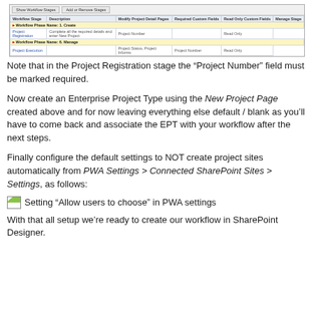[Figure (screenshot): Screenshot of a workflow stage table in a project management application, showing tabs and a table with columns: Workflow Stage, Description, Modify Project Detail Pages, Required Custom Fields, Read Only Custom Fields, Manage Stage. Rows include Workflow Phase Name: 1. Create, Project Registration, Workflow Phase Name: 6. Manage, Project Execution.]
Note that in the Project Registration stage the “Project Number” field must be marked required.
Now create an Enterprise Project Type using the New Project Page created above and for now leaving everything else default / blank as you’ll have to come back and associate the EPT with your workflow after the next steps.
Finally configure the default settings to NOT create project sites automatically from PWA Settings > Connected SharePoint Sites > Settings, as follows:
[Figure (screenshot): Setting “Allow users to choose” in PWA settings]
With that all setup we’re ready to create our workflow in SharePoint Designer.